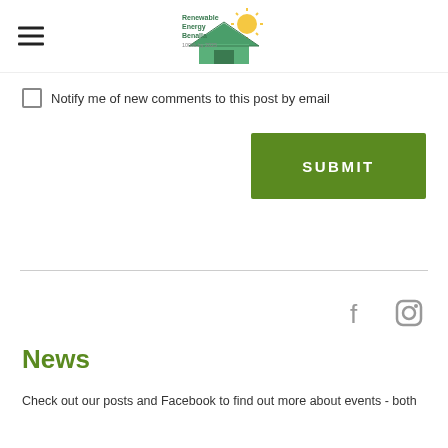Renewable Energy Benalla
Notify me of new comments to this post by email
SUBMIT
[Figure (illustration): Facebook and Instagram social media icons]
News
Check out our posts and Facebook to find out more about events - both